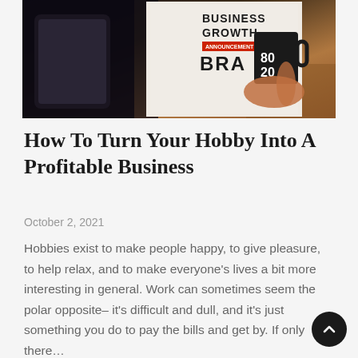[Figure (photo): Person holding a coffee mug with '80 20' text while reading a business growth magazine. Background shows a man in a suit on the magazine cover. Wooden surface visible.]
How To Turn Your Hobby Into A Profitable Business
October 2, 2021
Hobbies exist to make people happy, to give pleasure, to help relax, and to make everyone's lives a bit more interesting in general. Work can sometimes seem the polar opposite– it's difficult and dull, and it's just something you do to pay the bills and get by. If only there…